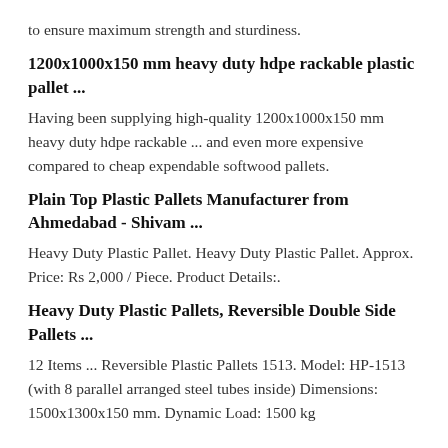to ensure maximum strength and sturdiness.
1200x1000x150 mm heavy duty hdpe rackable plastic pallet ...
Having been supplying high-quality 1200x1000x150 mm heavy duty hdpe rackable ... and even more expensive compared to cheap expendable softwood pallets.
Plain Top Plastic Pallets Manufacturer from Ahmedabad - Shivam ...
Heavy Duty Plastic Pallet. Heavy Duty Plastic Pallet. Approx. Price: Rs 2,000 / Piece. Product Details:.
Heavy Duty Plastic Pallets, Reversible Double Side Pallets ...
12 Items ... Reversible Plastic Pallets 1513. Model: HP-1513 (with 8 parallel arranged steel tubes inside) Dimensions: 1500x1300x150 mm. Dynamic Load: 1500 kg